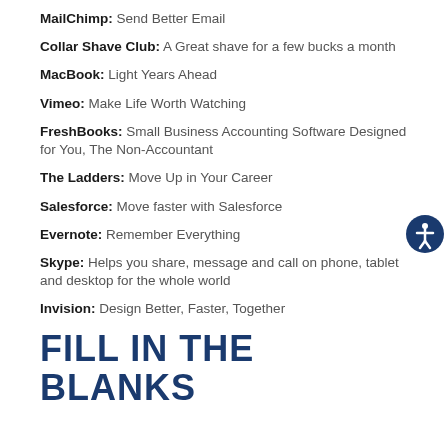MailChimp: Send Better Email
Collar Shave Club: A Great shave for a few bucks a month
MacBook: Light Years Ahead
Vimeo: Make Life Worth Watching
FreshBooks: Small Business Accounting Software Designed for You, The Non-Accountant
The Ladders: Move Up in Your Career
Salesforce: Move faster with Salesforce
Evernote: Remember Everything
Skype: Helps you share, message and call on phone, tablet and desktop for the whole world
Invision: Design Better, Faster, Together
FILL IN THE BLANKS